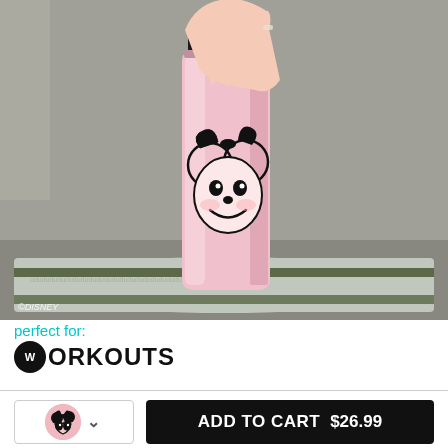[Figure (photo): A hand reaching toward a pink insulated water bottle featuring a Minnie Mouse graphic, placed on a gray yoga mat on concrete. Disney watermark visible in lower left corner.]
perfect for:
WORKOUTS
ADD TO CART  $26.99